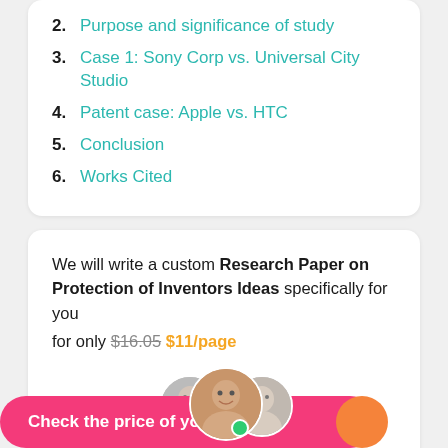2. Purpose and significance of study
3. Case 1: Sony Corp vs. Universal City Studio
4. Patent case: Apple vs. HTC
5. Conclusion
6. Works Cited
We will write a custom Research Paper on Protection of Inventors Ideas specifically for you for only $16.05 $11/page
[Figure (photo): Three overlapping circular avatar photos of writers with a green online indicator dot]
807 certified writers online
Check the price of your paper